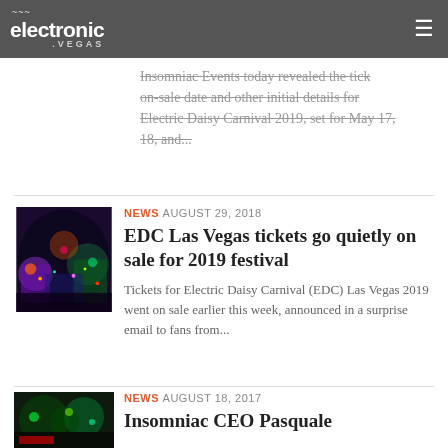electronic.vegas
Insomniac Events today revealed the ticket on-sale date and other initial details for Electric Daisy Carnival 2019, set for May 17, 18, and...
[Figure (photo): Aerial night view of EDC Las Vegas festival grounds with colorful lights and stages]
NEWS  AUGUST 29, 2018
EDC Las Vegas tickets go quietly on sale for 2019 festival
Tickets for Electric Daisy Carnival (EDC) Las Vegas 2019 went on sale earlier this week, announced in a surprise email to fans from...
[Figure (photo): Night festival scene with green lights and crowd]
NEWS  AUGUST 18, 2017
Insomniac CEO Pasquale